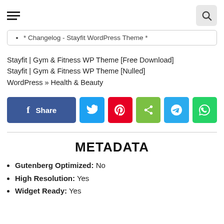[hamburger menu icon] [search icon]
* Changelog - Stayfit WordPress Theme *
Stayfit | Gym & Fitness WP Theme [Free Download]
Stayfit | Gym & Fitness WP Theme [Nulled]
WordPress » Health & Beauty
[Figure (infographic): Social share buttons row: Facebook Share, Twitter, Pinterest, ShareThis, Telegram, WhatsApp]
METADATA
Gutenberg Optimized: No
High Resolution: Yes
Widget Ready: Yes